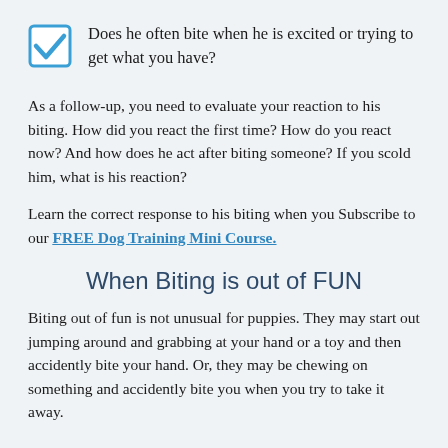Does he often bite when he is excited or trying to get what you have?
As a follow-up, you need to evaluate your reaction to his biting. How did you react the first time? How do you react now? And how does he act after biting someone? If you scold him, what is his reaction?
Learn the correct response to his biting when you Subscribe to our FREE Dog Training Mini Course.
When Biting is out of FUN
Biting out of fun is not unusual for puppies. They may start out jumping around and grabbing at your hand or a toy and then accidently bite your hand. Or, they may be chewing on something and accidently bite you when you try to take it away.